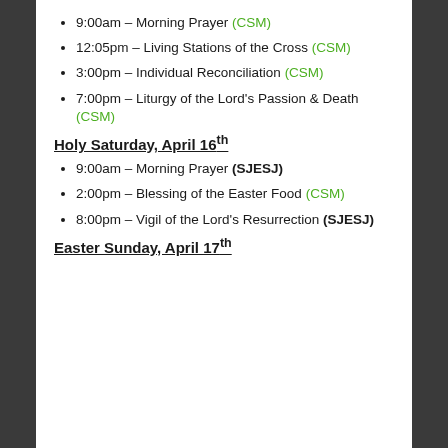9:00am – Morning Prayer (CSM)
12:05pm – Living Stations of the Cross (CSM)
3:00pm – Individual Reconciliation (CSM)
7:00pm – Liturgy of the Lord's Passion & Death (CSM)
Holy Saturday, April 16th
9:00am – Morning Prayer (SJESJ)
2:00pm – Blessing of the Easter Food (CSM)
8:00pm – Vigil of the Lord's Resurrection (SJESJ)
Easter Sunday, April 17th